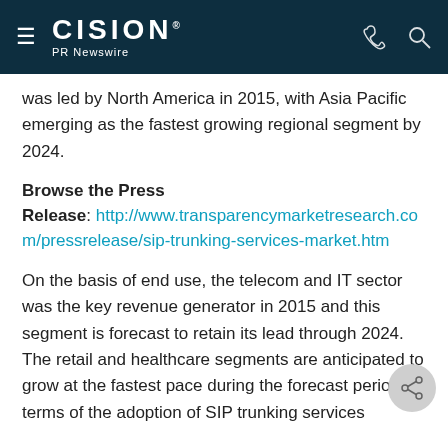CISION PR Newswire
was led by North America in 2015, with Asia Pacific emerging as the fastest growing regional segment by 2024.
Browse the Press
Release: http://www.transparencymarketresearch.com/pressrelease/sip-trunking-services-market.htm
On the basis of end use, the telecom and IT sector was the key revenue generator in 2015 and this segment is forecast to retain its lead through 2024. The retail and healthcare segments are anticipated to grow at the fastest pace during the forecast period in terms of the adoption of SIP trunking services